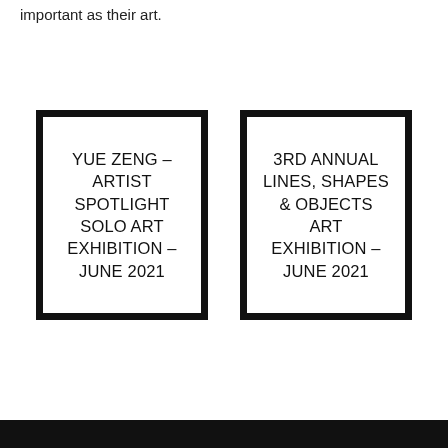important as their art.
[Figure (other): Card with text: YUE ZENG – ARTIST SPOTLIGHT SOLO ART EXHIBITION – JUNE 2021]
[Figure (other): Card with text: 3RD ANNUAL LINES, SHAPES & OBJECTS ART EXHIBITION – JUNE 2021]